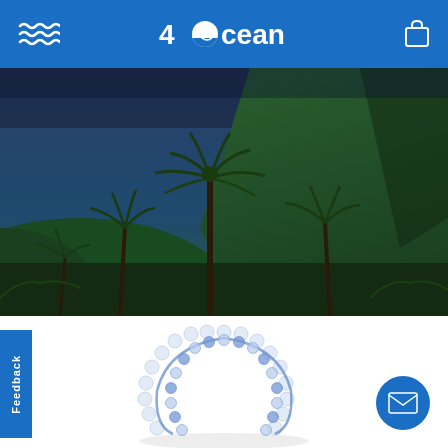4Ocean - navigation header with waves icon, 4Ocean logo, and shopping bag icon
[Figure (photo): Tropical nature scene showing palm trees and lush green vegetation against a dark blue-grey sky with a hillside in the background]
[Figure (photo): Product photo showing a beaded bracelet with clear and blue beads arranged in a circular shape on a white background]
Feedback
[Figure (illustration): Blue circular email/contact button with white envelope icon in the bottom right corner]